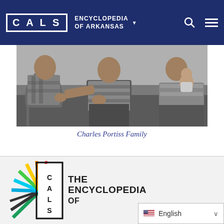CALS ENCYCLOPEDIA OF ARKANSAS
[Figure (photo): Black and white photograph of the Charles Portiss family – several adults and a baby seated together.]
Charles Portiss Family
[Figure (logo): CALS – The Encyclopedia of Arkansas logo with colorful radiating lines in a starburst pattern and a bordered box with the letters C, A, L, S.]
THE ENCYCLOPEDIA OF